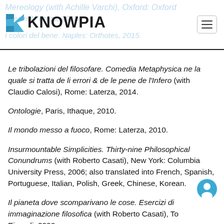KNOWPIA
Le tribolazioni del filosofare. Comedia Metaphysica ne la quale si tratta de li errori & de le pene de l'Infero (with Claudio Calosi), Rome: Laterza, 2014.
Ontologie, Paris, Ithaque, 2010.
Il mondo messo a fuoco, Rome: Laterza, 2010.
Insurmountable Simplicities. Thirty-nine Philosophical Conundrums (with Roberto Casati), New York: Columbia University Press, 2006; also translated into French, Spanish, Portuguese, Italian, Polish, Greek, Chinese, Korean.
Il pianeta dove scomparivano le cose. Esercizi di immaginazione filosofica (with Roberto Casati), Torino: Einaudi, 2006.
Parole, oggetti, eventi e altri argomenti di metafisica,